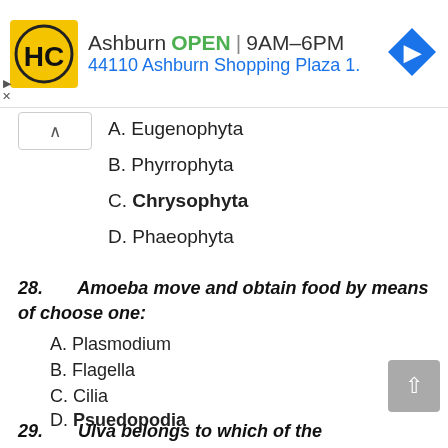[Figure (other): Advertisement banner for HC store in Ashburn. Logo with HC letters on yellow background. Text: Ashburn OPEN | 9AM-6PM, 44110 Ashburn Shopping Plaza 1. Blue navigation arrow icon on right.]
A. Eugenophyta
B. Phyrrophyta
C. Chrysophyta (bold/correct answer)
D. Phaeophyta
28.     Amoeba move and obtain food by means of choose one:
A. Plasmodium
B. Flagella
C. Cilia
D. Psuedopodia (bold/correct answer)
29.     Ulva belongs to which of the